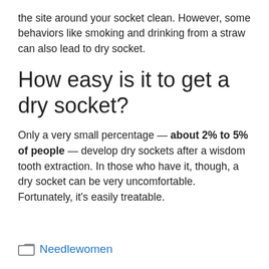the site around your socket clean. However, some behaviors like smoking and drinking from a straw can also lead to dry socket.
How easy is it to get a dry socket?
Only a very small percentage — about 2% to 5% of people — develop dry sockets after a wisdom tooth extraction. In those who have it, though, a dry socket can be very uncomfortable. Fortunately, it's easily treatable.
Needlewomen